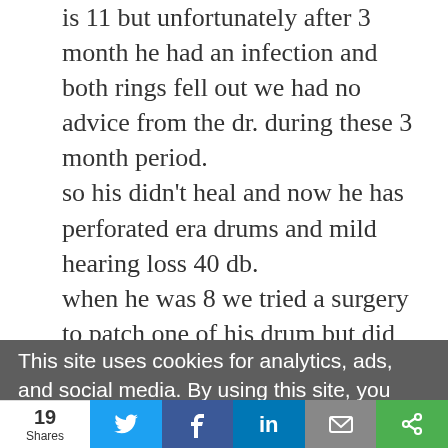is 11 but unfortunately after 3 month he had an infection and both rings fell out we had no advice from the dr. during these 3 month period. so his didn't heal and now he has perforated era drums and mild hearing loss 40 db. when he was 8 we tried a surgery to patch one of his drum but did work our. However and this where I need you advice please, since the surgery when he was 8, one of his ears keep getting wet and inflamed especially that we live in a very hot country and when he run it start dripping. we tried everything antibiotic with steroid ..(Ciloxane .3%, now we trying Cibrobay etc..with orale antibiotic) , it help for 1 month then starts again, we never tested him for
This site uses cookies for analytics, ads, and social media. By using this site, you agree to its use of cookies.
19 Shares | Twitter | Facebook | LinkedIn | Email | Other